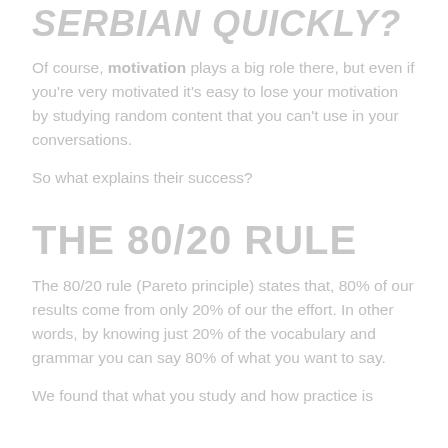SERBIAN QUICKLY?
Of course, motivation plays a big role there, but even if you're very motivated it's easy to lose your motivation by studying random content that you can't use in your conversations.
So what explains their success?
THE 80/20 RULE
The 80/20 rule (Pareto principle) states that, 80% of our results come from only 20% of our the effort. In other words, by knowing just 20% of the vocabulary and grammar you can say 80% of what you want to say.
We found that what you study and how practice is